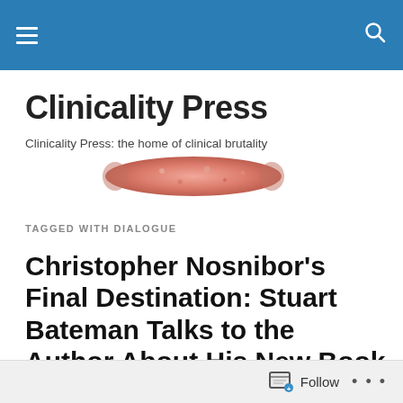Clinicality Press [navigation header with hamburger menu and search icon]
Clinicality Press
Clinicality Press: the home of clinical brutality
[Figure (photo): A horizontal elongated pink/salmon colored banner image resembling a sausage or abstract shape]
TAGGED WITH DIALOGUE
Christopher Nosnibor’s Final Destination: Stuart Bateman Talks to the Author About His New Book
It was a number of years ago that Christopher Nosnibor his...
Follow ...